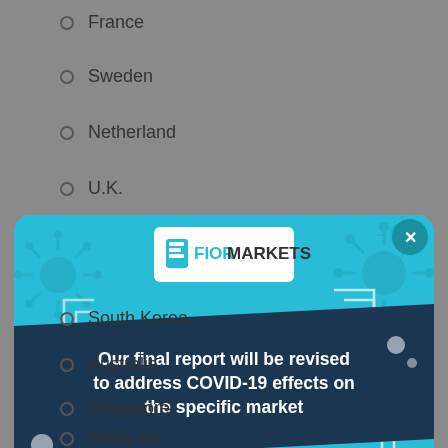France
Sweden
Netherland
U.K.
[Figure (other): Fior Markets modal popup with light blue background, COVID-19 notice banner in dark navy blue reading 'Our final report will be revised to address COVID-19 effects on the specific market', Fior Markets logo on white card at top, close button (x) in top right, decorative virus icons and geometric frames]
South Korea
Australia
Singapore
Malaysia